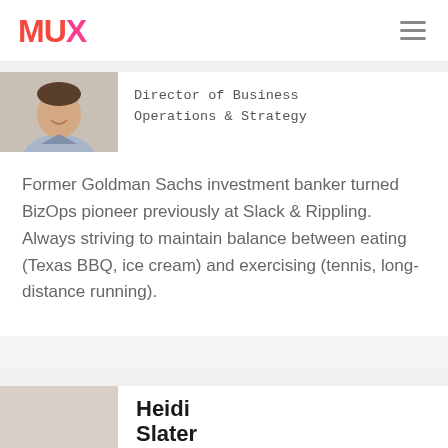MUX
Director of Business Operations & Strategy
[Figure (photo): Profile photo of a smiling person in a light blue collared shirt]
Former Goldman Sachs investment banker turned BizOps pioneer previously at Slack & Rippling. Always striving to maintain balance between eating (Texas BBQ, ice cream) and exercising (tennis, long-distance running).
Heidi Slater